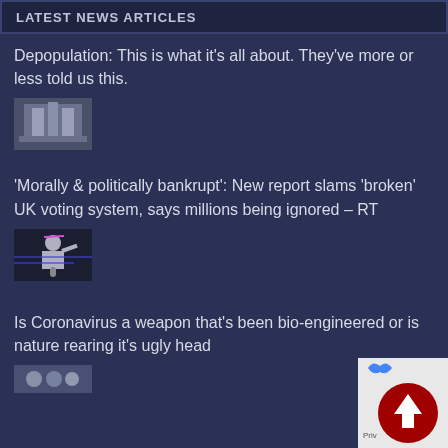LATEST NEWS ARTICLES
Depopulation: This is what it's all about. They've more or less told us this.
[Figure (photo): Thumbnail image of stone monument structure (Georgia Guidestones or similar)]
'Morally & politically bankrupt': New report slams 'broken' UK voting system, says millions being ignored – RT
[Figure (photo): Thumbnail image of a person speaking at a podium or event, with blue annotation lines overlaid]
Is Coronavirus a weapon that's been bio-engineered or is nature rearing it's ugly head
[Figure (photo): Partial thumbnail image visible at bottom of page]
[Figure (other): Scroll-to-top button overlay with red circular background and white arrow icon, with 'Priv' privacy label]